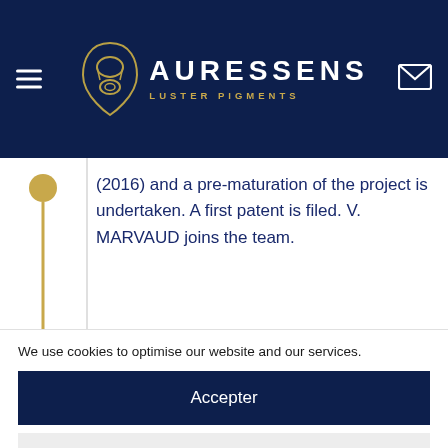AURESSENS LUSTER PIGMENTS
(2016) and a pre-maturation of the project is undertaken. A first patent is filed. V. MARVAUD joins the team.
We use cookies to optimise our website and our services.
Accepter
Refuser
Preferences
Privacy policy